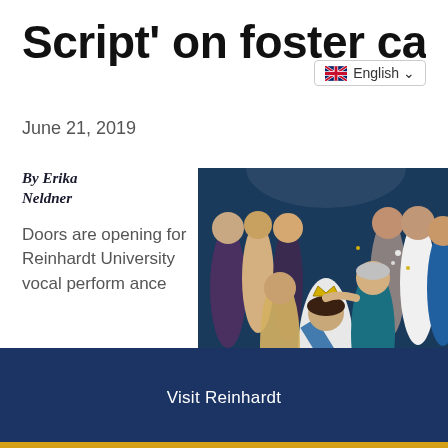Script' on foster care
English
June 21, 2019
By Erika Neldner
Doors are opening for Reinhardt University vocal performance
[Figure (photo): A pageant crowning ceremony with young women in formal gowns on stage, the winner in the center wearing a sash and holding flowers while being crowned.]
Visit Reinhardt